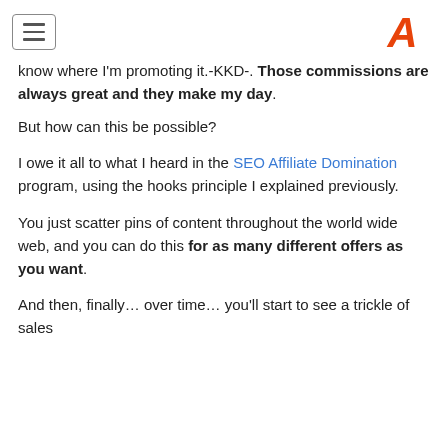[hamburger menu] [logo]
know where I'm promoting it.-KKD-. Those commissions are always great and they make my day.
But how can this be possible?
I owe it all to what I heard in the SEO Affiliate Domination program, using the hooks principle I explained previously.
You just scatter pins of content throughout the world wide web, and you can do this for as many different offers as you want.
And then, finally… over time… you'll start to see a trickle of sales